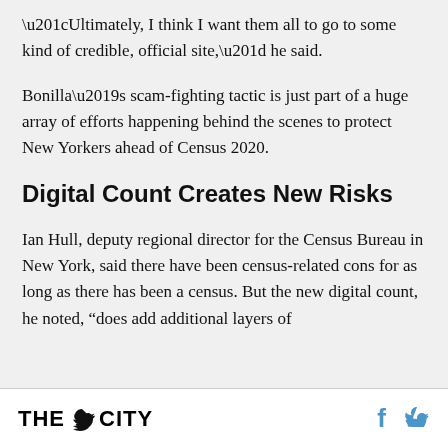“Ultimately, I think I want them all to go to some kind of credible, official site,” he said.
Bonilla’s scam-fighting tactic is just part of a huge array of efforts happening behind the scenes to protect New Yorkers ahead of Census 2020.
Digital Count Creates New Risks
Ian Hull, deputy regional director for the Census Bureau in New York, said there have been census-related cons for as long as there has been a census. But the new digital count, he noted, “does add additional layers of
THE CITY